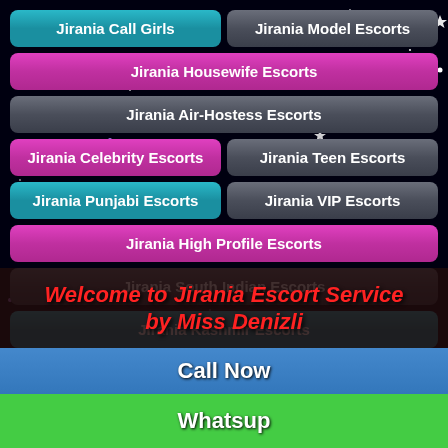[Figure (screenshot): Dark starry night sky background with colorful service category buttons and footer text for Jirania Escort Service]
Jirania Call Girls
Jirania Model Escorts
Jirania Housewife Escorts
Jirania Air-Hostess Escorts
Jirania Celebrity Escorts
Jirania Teen Escorts
Jirania Punjabi Escorts
Jirania VIP Escorts
Jirania High Profile Escorts
Jirania South Indian Escorts
Jirania Kashmir Escorts
Jirania Collage Girls Escorts
Welcome to Jirania Escort Service by Miss Denizli
Call Now
Whatsup